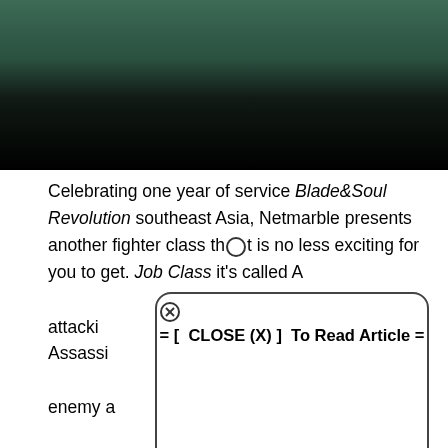[Figure (photo): Top portion of a gaming article page showing a dark teal/green background fading to black, partially cropped image from the game Blade&Soul Revolution]
Celebrating one year of service Blade&Soul Revolution southeast Asia, Netmarble presents another fighter class that is no less exciting for you to get. Job Class it's called A[...] g in attackin[...] n the air.

Assassi[...] y the enemy a[...] ke advanta[...] t class to effectiv[...]
= [ CLOSE (X) ] To Read Article =